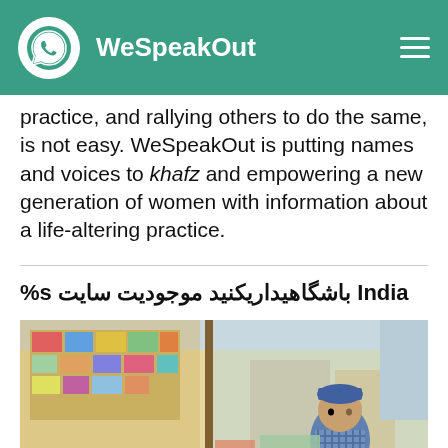WeSpeakOut
practice, and rallying others to do the same, is not easy. WeSpeakOut is putting names and voices to khafz and empowering a new generation of women with information about a life-altering practice.
%s باشگاهیداریکنید موجودیت سایت India
[Figure (photo): An elderly man wearing a blue cap and checkered scarf standing behind a market stall with various goods]